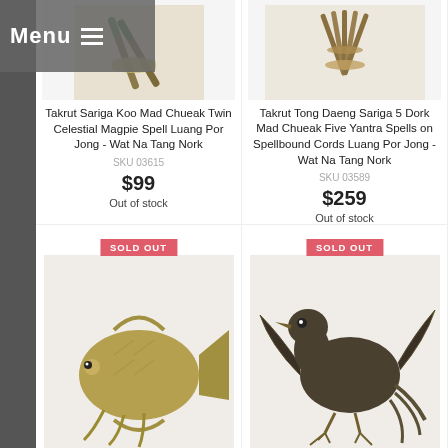Menu ☰
[Figure (photo): Product photo of Takrut Sariga Koo Mad Chueak Twin Celestial Magpie Spell - wrapped bamboo/cord amulet rods]
Takrut Sariga Koo Mad Chueak Twin Celestial Magpie Spell Luang Por Jong - Wat Na Tang Nork
SKU 03615
$99
Out of stock
[Figure (photo): Product photo of Takrut Tong Daeng Sariga 5 Dork Mad Chueak Five Yantra Spells on Spellbound Cords - bundled metal rod amulets with cords]
Takrut Tong Daeng Sariga 5 Dork Mad Chueak Five Yantra Spells on Spellbound Cords Luang Por Jong - Wat Na Tang Nork
SKU 03589
$259
Out of stock
[Figure (photo): Product photo of a brass/bronze fish amulet charm - SOLD OUT]
[Figure (photo): Product photo of a brass/bronze bird (magpie) amulet charm - SOLD OUT]